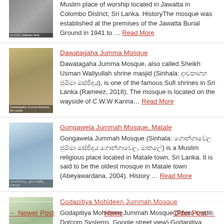Muslim place of worship located in Jawatta in Colombo District, Sri Lanka. HistoryThe mosque was established at the premises of the Jawatta Burial Ground in 1941 to … Read More
Dawatagaha Jumma Mosque
Dawatagaha Jumma Mosque, also called Sheikh Usman Wallyullah shrine masjid (Sinhala: [Sinhala text]), is one of the famous Sufi shrines in Sri Lanka (Rameez, 2018). The mosque is located on the wayside of C.W.W Kanna… Read More
Gongawela Jummah Mosque, Matale
Gongawela Jummah Mosque (Sinhala: [Sinhala text]) is a Muslim religious place located in Matale town, Sri Lanka. It is said to be the oldest mosque in Matale town (Abeyawardana, 2004). History … Read More
Godapitiya Mohideen Jummah Mosque
Godapitiya Mohideen Jummah Mosque (Photo credit: Dotcom Systems, Google street view) Godapitiya Mohideen Jummah Mosque (or Porwai Muhiyaddeen Jummah Mosque) is a Muslim religious place located in Matara District, Sri Lan… Read More
← Newer Post   Home   Older Post →